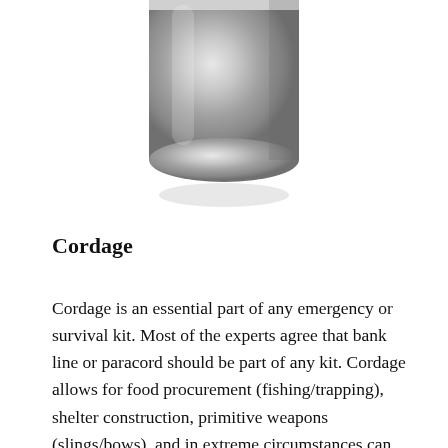[Figure (photo): A metallic cylindrical object (likely a steel cup or container) photographed from below, showing its rounded bottom, partially cropped at the top of the image.]
Cordage
Cordage is an essential part of any emergency or survival kit. Most of the experts agree that bank line or paracord should be part of any kit. Cordage allows for food procurement (fishing/trapping), shelter construction, primitive weapons (slings/bows), and in extreme circumstances can be used for first aid